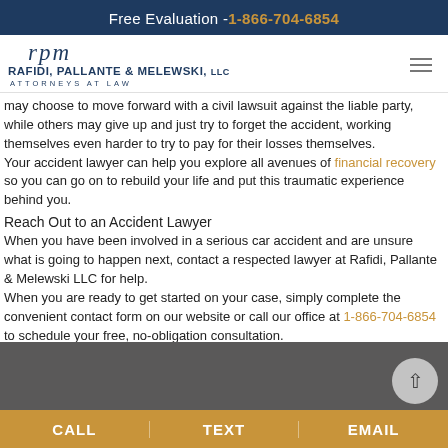Free Evaluation -1-866-704-6854
[Figure (logo): Rafidi, Pallante & Melewski LLC logo with script initials rpm and text ATTORNEYS AT LAW]
may choose to move forward with a civil lawsuit against the liable party, while others may give up and just try to forget the accident, working themselves even harder to try to pay for their losses themselves. Your accident lawyer can help you explore all avenues of financial recovery so you can go on to rebuild your life and put this traumatic experience behind you.
Reach Out to an Accident Lawyer
When you have been involved in a serious car accident and are unsure what is going to happen next, contact a respected lawyer at Rafidi, Pallante & Melewski LLC for help.
When you are ready to get started on your case, simply complete the convenient contact form on our website or call our office at 1-866-704-6854 to schedule your free, no-obligation consultation.
Posted in Our Blog
How Does Shared Fault Work in Ohio?
Posted by lawrpm in Our Blog
CALL | TEXT | EMAIL